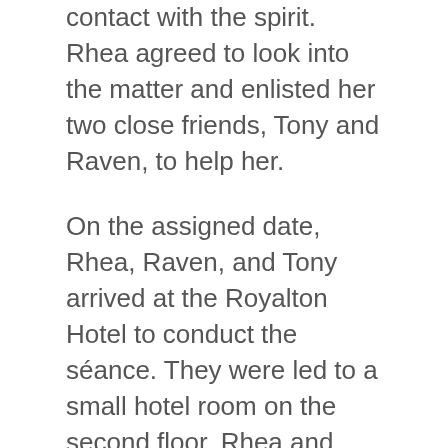contact with the spirit. Rhea agreed to look into the matter and enlisted her two close friends, Tony and Raven, to help her.
On the assigned date, Rhea, Raven, and Tony arrived at the Royalton Hotel to conduct the séance. They were led to a small hotel room on the second floor. Rhea and Raven worked the Ouija Board, while Tony recorded the responses. Nine staff members joined them for the séance making a total of twelve people in the room.
At first, they had sporadic contact with several energies. The spirit of a little boy came through the board asking if anyone had seen his mother. After the young boy left, heavy footsteps could be heard walking outside the door in the hallway. Then they felt